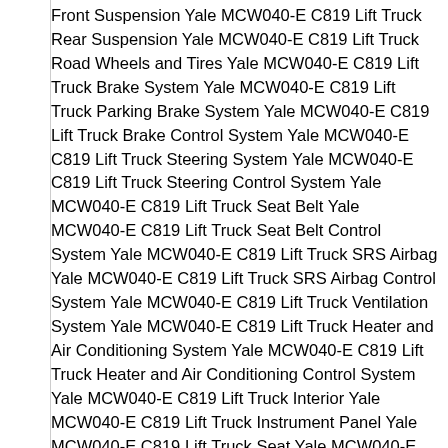Front Suspension Yale MCW040-E C819 Lift Truck Rear Suspension Yale MCW040-E C819 Lift Truck Road Wheels and Tires Yale MCW040-E C819 Lift Truck Brake System Yale MCW040-E C819 Lift Truck Parking Brake System Yale MCW040-E C819 Lift Truck Brake Control System Yale MCW040-E C819 Lift Truck Steering System Yale MCW040-E C819 Lift Truck Steering Control System Yale MCW040-E C819 Lift Truck Seat Belt Yale MCW040-E C819 Lift Truck Seat Belt Control System Yale MCW040-E C819 Lift Truck SRS Airbag Yale MCW040-E C819 Lift Truck SRS Airbag Control System Yale MCW040-E C819 Lift Truck Ventilation System Yale MCW040-E C819 Lift Truck Heater and Air Conditioning System Yale MCW040-E C819 Lift Truck Heater and Air Conditioning Control System Yale MCW040-E C819 Lift Truck Interior Yale MCW040-E C819 Lift Truck Instrument Panel Yale MCW040-E C819 Lift Truck Seat Yale MCW040-E